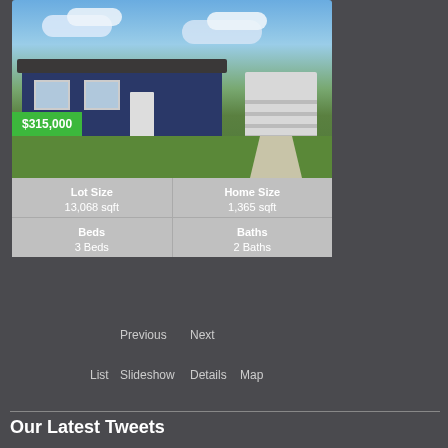[Figure (photo): Photo of a single-story blue house with gray roof and white garage door, green lawn in front, cloudy sky]
$315,000
| Lot Size | Home Size |
| --- | --- |
| 13,068 sqft | 1,365 sqft |
| Beds | Baths |
| --- | --- |
| 3 Beds | 2 Baths |
Previous
Next
List
Slideshow
Details
Map
Our Latest Tweets